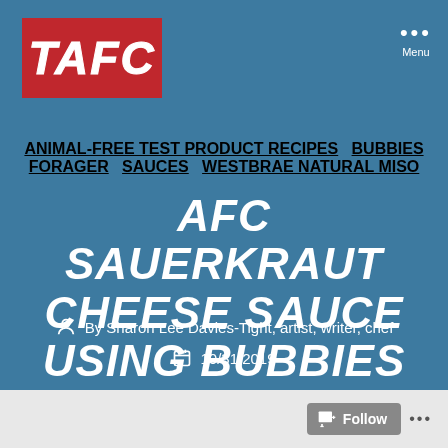[Figure (logo): TAFC logo — white italic bold text on red background]
Menu
ANIMAL-FREE TEST PRODUCT RECIPES  BUBBIES  FORAGER  SAUCES  WESTBRAE NATURAL MISO
AFC SAUERKRAUT CHEESE SAUCE USING BUBBIES
By Sharon Lee Davies-Tight, artist, writer, chef
10/31/2019
Follow